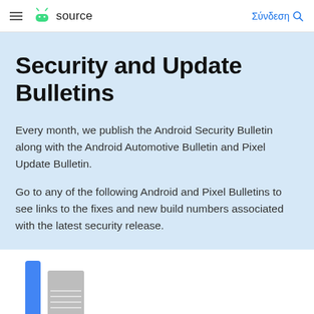≡ android source  Σύνδεση
Security and Update Bulletins
Every month, we publish the Android Security Bulletin along with the Android Automotive Bulletin and Pixel Update Bulletin.
Go to any of the following Android and Pixel Bulletins to see links to the fixes and new build numbers associated with the latest security release.
[Figure (illustration): Partial view of a card with a blue vertical bar and grey document icon]